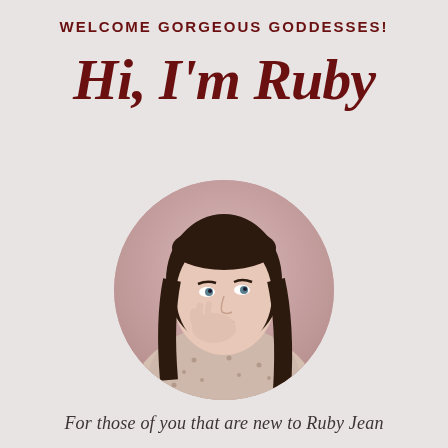WELCOME GORGEOUS GODDESSES!
Hi, I'm Ruby
[Figure (photo): Circular cropped portrait photo of a young woman with long dark brown hair, resting her chin/cheek on her hand, wearing a floral patterned top, with a pink background]
For those of you that are new to Ruby Jean